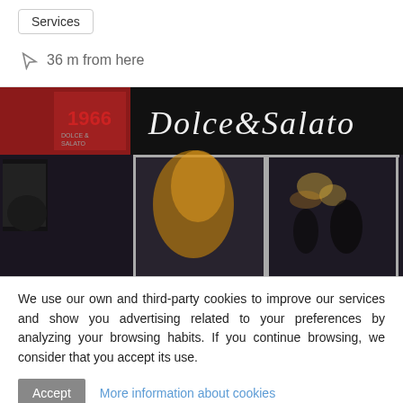Services
36 m from here
[Figure (photo): Exterior storefront of 'Dolce & Salato' restaurant/cafe, showing a dark sign with the name written in cursive chalk-style lettering, and large glass windows/doors revealing warm interior lighting]
We use our own and third-party cookies to improve our services and show you advertising related to your preferences by analyzing your browsing habits. If you continue browsing, we consider that you accept its use.
Accept   More information about cookies